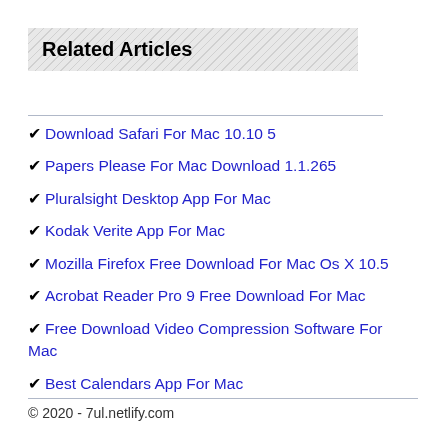Related Articles
Download Safari For Mac 10.10 5
Papers Please For Mac Download 1.1.265
Pluralsight Desktop App For Mac
Kodak Verite App For Mac
Mozilla Firefox Free Download For Mac Os X 10.5
Acrobat Reader Pro 9 Free Download For Mac
Free Download Video Compression Software For Mac
Best Calendars App For Mac
© 2020 - 7ul.netlify.com